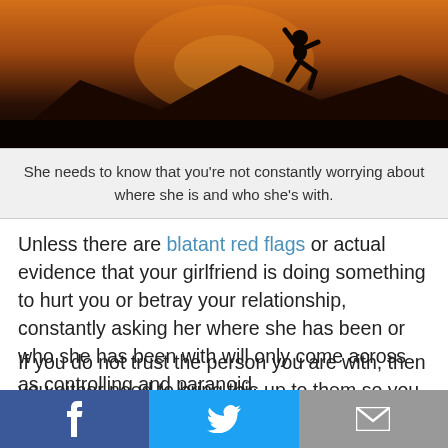[Figure (photo): Silhouette of a person jumping or running against a warm orange sunset sky with mountains in the background]
She needs to know that you're not constantly worrying about where she is and who she's with.
Unless there are blatant red flags or actual evidence that your girlfriend is doing something to hurt you or betray your relationship, constantly asking her where she has been or who she has been with will only come across as controlling and paranoid.
If you do not trust the person you are with, then you either need to bring this up to them so you can resolve this issue, or you just need to realize that your relationship is not